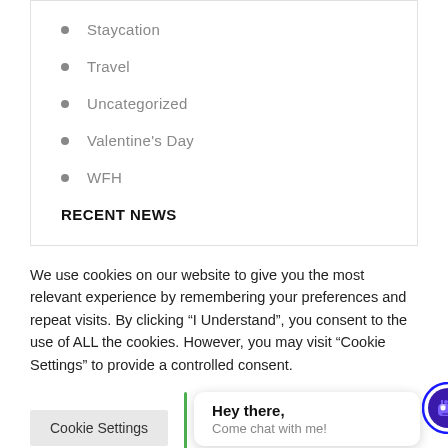Staycation
Travel
Uncategorized
Valentine's Day
WFH
RECENT NEWS
We use cookies on our website to give you the most relevant experience by remembering your preferences and repeat visits. By clicking “I Understand”, you consent to the use of ALL the cookies. However, you may visit “Cookie Settings” to provide a controlled consent.
Cookie Settings
Hey there, Come chat with me!